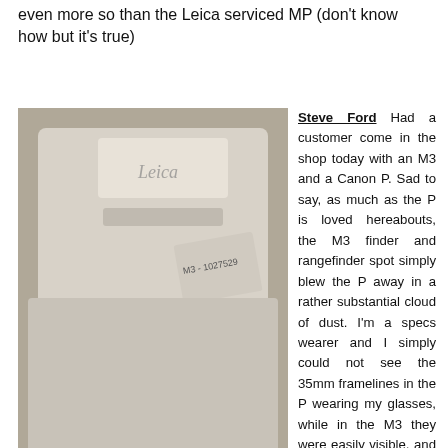even more so than the Leica serviced MP (don't know how but it's true)
[Figure (photo): Close-up black and white photograph of a Leica M3 camera (serial number M3-1027529) showing the top plate and shutter speed dial with values 500, 1000 visible, along with camera branding.]
One of my favorite things about the M3 is how many different angles you can look at it and see something beautiful
Steve Ford Had a customer come in the shop today with an M3 and a Canon P. Sad to say, as much as the P is loved hereabouts, the M3 finder and rangefinder spot simply blew the P away in a rather substantial cloud of dust. I'm a specs wearer and I simply could not see the 35mm framelines in the P wearing my glasses, while in the M3 they were easily visible, and the spot was so sharp and clear. I was blown away by how big a RF viewfinder could be, how clear